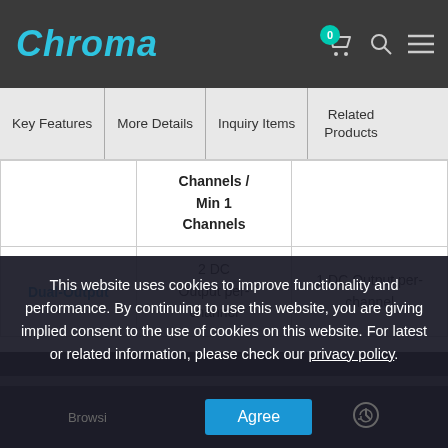Chroma
Key Features | More Details | Inquiry Items | Related Products
|  | Channels / Min 1 Channels |  |
| --- | --- | --- |
| Dual-Output | 2 DC Output per-channel | 1 DC Output per-channel |
This website uses cookies to improve functionality and performance. By continuing to use this website, you are giving implied consent to the use of cookies on this website. For latest or related information, please check our privacy policy.
Hardware Specifications
Add to wishlist   Add to Inquiry Cart
Agree
Browsing History